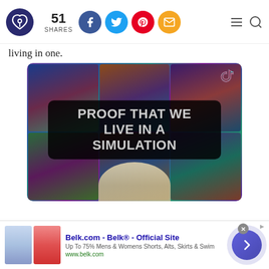51 SHARES [Facebook, Twitter, Pinterest, Email social share icons] [hamburger menu] [search icon]
living in one.
[Figure (screenshot): TikTok video thumbnail showing colorful psychedelic artwork collage background with a person's face partially visible at the bottom and a black rounded-rectangle text overlay reading 'PROOF THAT WE LIVE IN A SIMULATION' in bold white/gray letters. TikTok logo in top right corner.]
[Figure (screenshot): Advertisement banner for Belk.com showing two skirt product images, ad text 'Belk.com - Belk® - Official Site', description 'Up To 75% Mens & Womens Shorts, Alts, Skirts & Swim', URL 'www.belk.com', close button, and a purple arrow circle button on the right.]